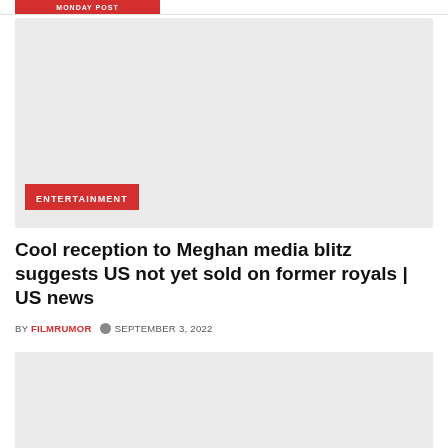MONDAY POST
[Figure (photo): Light gray placeholder image with ENTERTAINMENT tag overlay at bottom left]
Cool reception to Meghan media blitz suggests US not yet sold on former royals | US news
BY FILMRUMOR  SEPTEMBER 3, 2022
[Figure (photo): Light gray placeholder image at bottom of page]